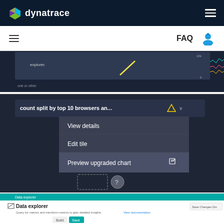dynatrace - navigation header with logo and hamburger menu
[Figure (screenshot): Dynatrace top navigation bar with dark background, dynatrace logo on left, hamburger menu icon on right]
[Figure (screenshot): Secondary navigation bar with hamburger menu icon on left, FAQ text and user avatar icon on right]
[Figure (screenshot): Partial Dynatrace dashboard screenshot showing a chart tile with dark background, partial text 'explorer.' visible, and small line charts on the right]
[Figure (screenshot): Dynatrace dashboard screenshot showing a context menu with options: 'View details', 'Edit tile', 'Preview upgraded chart' (highlighted). The tile header shows 'count split by top 10 browsers an...' with a warning icon. A dashed box with question mark icon is visible at the bottom.]
[Figure (screenshot): Partial Data explorer panel showing teal header bar labeled 'Data explorer', white area with 'Data explorer' title, subtitle text 'Query for metrics and transform metrics to gain detailed insights. View documentation.' and 'Save Changes Dis' button partially visible. Below shows a Build/Save tab selector.]